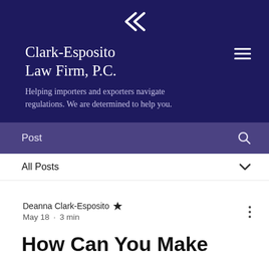[Figure (logo): Clark-Esposito Law Firm logo icon — two overlapping white arrow/chevron shapes pointing left on dark navy background]
Clark-Esposito Law Firm, P.C.
Helping importers and exporters navigate regulations. We are determined to help you.
Post
All Posts
Deanna Clark-Esposito 👑
May 18 · 3 min
How Can You Make